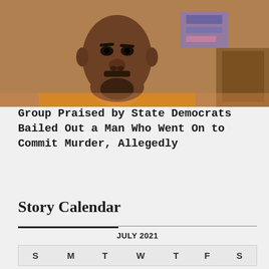[Figure (photo): Close-up photo of a man in an orange shirt in what appears to be a courtroom setting]
Group Praised by State Democrats Bailed Out a Man Who Went On to Commit Murder, Allegedly
Story Calendar
| S | M | T | W | T | F | S |
| --- | --- | --- | --- | --- | --- | --- |